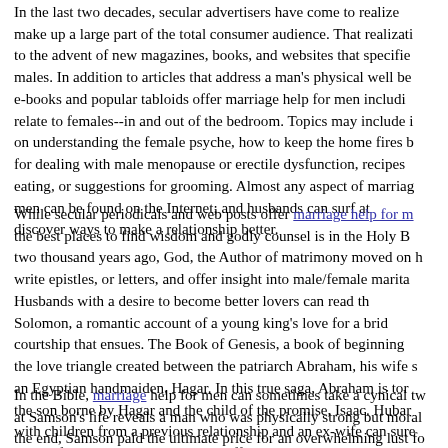In the last two decades, secular advertisers have come to realize that Christian males make up a large part of the total consumer audience. That realization has given rise to the advent of new magazines, books, and websites that specifically target Christian males. In addition to articles that address a man's physical well being, many of these e-books and popular tabloids offer marriage help for men including advice on how to relate to females--in and out of the bedroom. Topics may include informative articles on understanding the female psyche, how to keep the home fires burning, or advice for dealing with male menopause or erectile dysfunction, recipes for healthy eating, or suggestions for grooming. Almost any aspect of marriage advice for men can be found on the Internet; and husbands can surf at their leisure to discover ways to make a relationship better.
While secular periodicals and web posts offer marriage help for men, one of the best places to find wisdom and godly counsel is in the Holy Bible. Nearly two thousand years ago, God, the Author of matrimony moved on holy men of old to write epistles, or letters, and offer insight into male/female marital relationships. Husbands with a desire to become better lovers can read the Song of Solomon, a romantic account of a young king's love for a bride and the courtship that ensues. The Book of Genesis, a book of beginnings, chronicles the love triangle created between the patriarch Abraham, his wife Sarah, and an Egyptian handmaiden, Hagar. In this true saga, Abraham is torn between the son borne by Hagar and the child of the promise, Isaac. Husbands dealing with children from a previous relationship and an ex-wife can surely identify with the conflict a second marriage and offspring can bring.
In the Bible, marriage help for men can sometimes take a cynical turn. A look at Samson's life reveals a man who was physically strong but morally weak. In the end, Samson paid the ultimate price for an overwhelming lust for Philistine women: his life; a difficult but frank object lesson for twenty-first century husbands tempted to stray outside of the marriage bond. From...